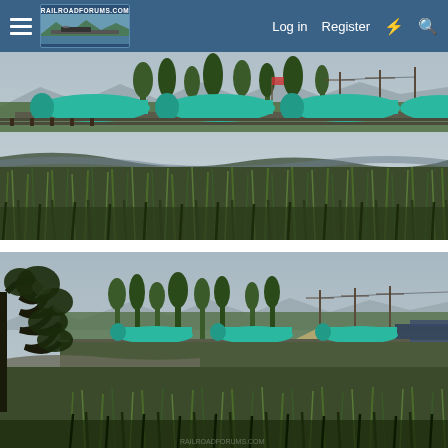RailroadForums.com — Log in | Register
[Figure (photo): Outdoor photograph showing green Boeing aircraft fuselages being transported on flatbed rail cars, visible above marshy grassland with trees and utility poles in the background, overcast sky.]
[Figure (photo): Outdoor photograph taken from farther away showing the same scene: green Boeing aircraft fuselages on rail cars, with a park/grassy area in the foreground framed by leafy tree branches on the left, mountains and overcast sky in background.]